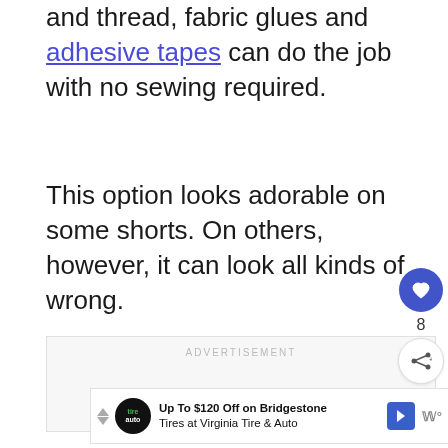and thread, fabric glues and adhesive tapes can do the job with no sewing required.
This option looks adorable on some shorts. On others, however, it can look all kinds of wrong.
[Figure (other): Advertisement placeholder box with label 'ADVERTISEMENT' and social action buttons (heart/like button showing 8 likes, share button)]
[Figure (other): Banner ad: 'Up To $120 Off on Bridgestone Tires at Virginia Tire & Auto' with tire auto logo, directional arrow icon, and brand logo]